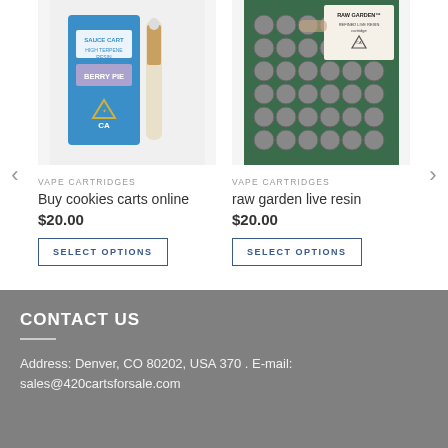[Figure (photo): Product image of Sauce Cart Berry Pie vape cartridge with blue packaging and gold cartridge, on white background]
VAPE CARTRIDGES
Buy cookies carts online
$20.00
SELECT OPTIONS
[Figure (photo): Product image of Raw Garden Refined Live Resin cartridge, shown with multiple cartridges in packaging tray on dark green background, hand visible]
VAPE CARTRIDGES
raw garden live resin
$20.00
SELECT OPTIONS
CONTACT US
Address: Denver, CO 80202, USA 370 . E-mail: sales@420cartsforsale.com